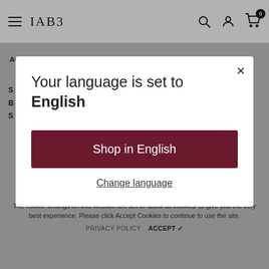IAB3 [navigation header with hamburger menu, logo, search, account, and cart icons]
AGREGAR AL CARRI...   AGREGAR AL CARRI...
[Figure (screenshot): Modal dialog with close button, language selection title, shop button, and change language link]
Your language is set to English
Shop in English
Change language
The cookie settings on this website are set to 'allow all cookies' to give you the very best experience. Please click Accept Cookies to continue to use the site.
PRIVACY POLICY   ACCEPT ✔